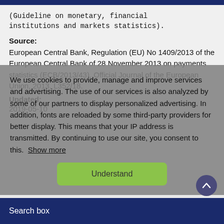(Guideline on monetary, financial institutions and markets statistics).
Source:
European Central Bank, Regulation (EU) No 1409/2013 of the European Central Bank of 28 November 2013 on payments statistics (ECB/2013/43), Official Journal of the European Union, 2013, L352/18.
We use cookies to provide, manage and improve services and advertising. The use of our services is also analyzed by some of our partners to display personalized advertising. In addition, fonts are reloaded by some third-party providers for better display. This means that your IP address is transmitted. By continuing to use our site, you consent to this. Show more
Updated:
2019-05-10
Understand
Search box